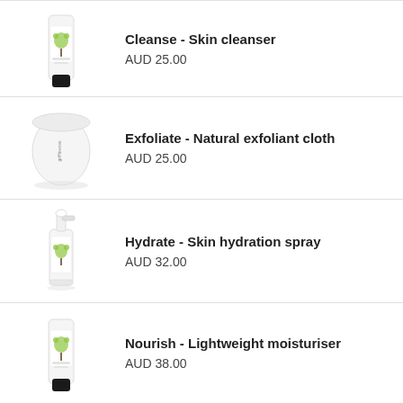[Figure (illustration): White tube product with green tree illustration - Cleanse skin cleanser]
Cleanse - Skin cleanser
AUD 25.00
[Figure (illustration): White rounded container/cloth wrap with griffin+row branding - Natural exfoliant cloth]
Exfoliate - Natural exfoliant cloth
AUD 25.00
[Figure (illustration): White spray bottle with green tree illustration - Skin hydration spray]
Hydrate - Skin hydration spray
AUD 32.00
[Figure (illustration): White tube product with green tree illustration - Lightweight moisturiser]
Nourish - Lightweight moisturiser
AUD 38.00